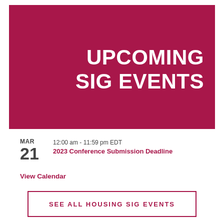UPCOMING SIG EVENTS
MAR
21
12:00 am - 11:59 pm EDT
2023 Conference Submission Deadline
View Calendar
SEE ALL HOUSING SIG EVENTS